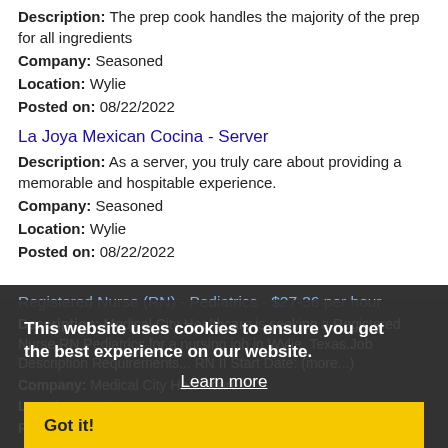Description: The prep cook handles the majority of the prep for all ingredients
Company: Seasoned
Location: Wylie
Posted on: 08/22/2022
La Joya Mexican Cocina - Server
Description: As a server, you truly care about providing a memorable and hospitable experience.
Company: Seasoned
Location: Wylie
Posted on: 08/22/2022
Registered Nurse (RN) - Pediatrics - $27-36 per hour
Description: Medical City Healthcare is seeking a Registered Nurse RN Pediatrics for a nursing job in Wylie, Texas.Job Description Requirements... RN II Start Date: (more...)
Company: Medical City Healthcare
Location: Wylie
Posted on: 08/22/2022
This website uses cookies to ensure you get the best experience on our website.
Learn more
Got it!
Registered Nurse (RN) - Rehabilitation - $27-36 per hour, Days